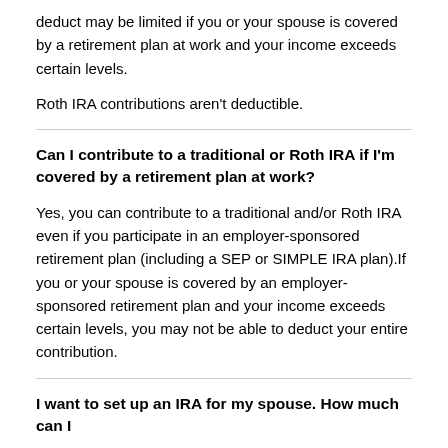deduct may be limited if you or your spouse is covered by a retirement plan at work and your income exceeds certain levels.
Roth IRA contributions aren't deductible.
Can I contribute to a traditional or Roth IRA if I'm covered by a retirement plan at work?
Yes, you can contribute to a traditional and/or Roth IRA even if you participate in an employer-sponsored retirement plan (including a SEP or SIMPLE IRA plan).If you or your spouse is covered by an employer-sponsored retirement plan and your income exceeds certain levels, you may not be able to deduct your entire contribution.
I want to set up an IRA for my spouse. How much can I